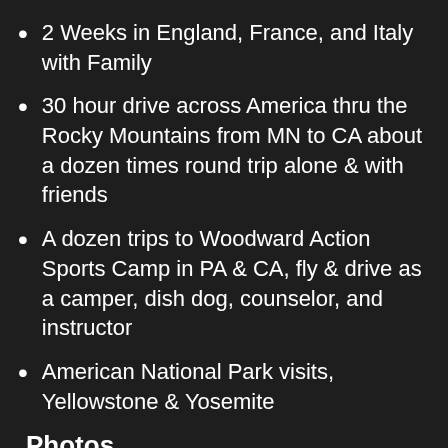2 Weeks in England, France, and Italy with Family
30 hour drive across America thru the Rocky Mountains from MN to CA about a dozen times round trip alone & with friends
A dozen trips to Woodward Action Sports Camp in PA & CA, fly & drive as a camper, dish dog, counselor, and instructor
American National Park visits, Yellowstone & Yosemite
Photos